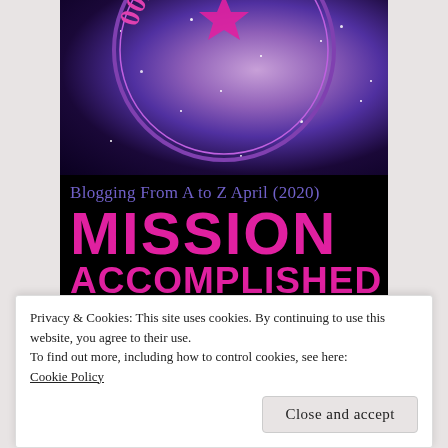[Figure (illustration): A blog badge for 'Blogging From A to Z April (2020) Mission Accomplished' on a galaxy/space background with purple and pink colors. Top portion shows a circular badge with text '2009-2020' on a nebula background. Bottom portion is a black banner with purple subtitle text 'Blogging From A to Z April (2020)' and large pink bold text 'MISSION ACCOMPLISHED'.]
Privacy & Cookies: This site uses cookies. By continuing to use this website, you agree to their use.
To find out more, including how to control cookies, see here:
Cookie Policy
Close and accept